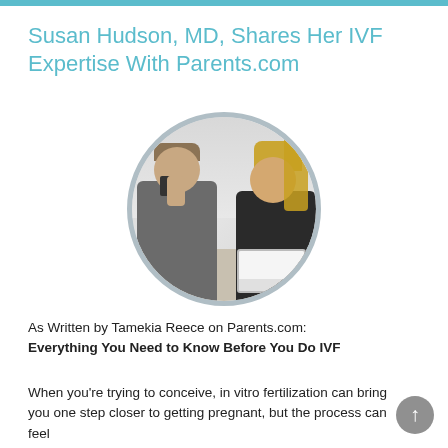Susan Hudson, MD, Shares Her IVF Expertise With Parents.com
[Figure (photo): Circular photo of a man and woman sitting together at a laptop. The man is holding a phone to his ear and the woman with long blonde hair is smiling, looking at him.]
As Written by Tamekia Reece on Parents.com: Everything You Need to Know Before You Do IVF
When you're trying to conceive, in vitro fertilization can bring you one step closer to getting pregnant, but the process can feel